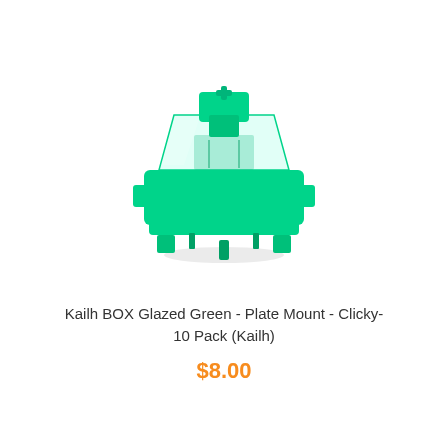[Figure (photo): A Kailh BOX Glazed Green mechanical keyboard switch with a transparent housing and bright green/teal colored stem and base, shown in a 3D perspective view with pins visible at the bottom.]
Kailh BOX Glazed Green - Plate Mount - Clicky- 10 Pack (Kailh)
$8.00